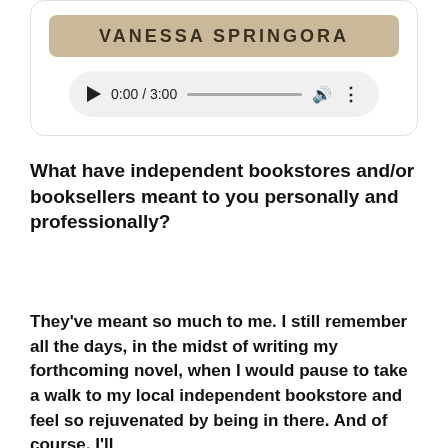[Figure (screenshot): Audio player widget embedded in a media card with a tan/beige book banner showing 'VANESSA SPRINGORA' text and a rounded audio player control showing 0:00 / 3:00 with play button, progress bar, volume and options icons]
What have independent bookstores and/or booksellers meant to you personally and professionally?
They've meant so much to me. I still remember all the days, in the midst of writing my forthcoming novel, when I would pause to take a walk to my local independent bookstore and feel so rejuvenated by being in there. And of course, I'll